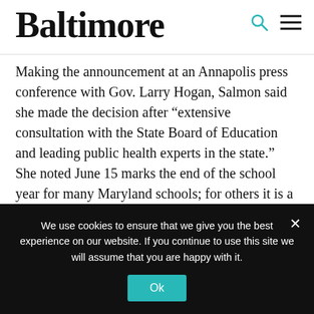Baltimore
Making the announcement at an Annapolis press conference with Gov. Larry Hogan, Salmon said she made the decision after “extensive consultation with the State Board of Education and leading public health experts in the state.” She noted June 15 marks the end of the school year for many Maryland schools; for others it is a week later.
Maryland reported 33 new deaths Friday, increasing the state total to 425, with another probable 69 deaths due to
We use cookies to ensure that we give you the best experience on our website. If you continue to use this site we will assume that you are happy with it.